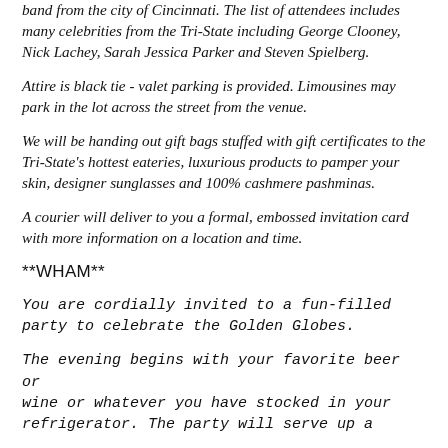band from the city of Cincinnati. The list of attendees includes many celebrities from the Tri-State including George Clooney, Nick Lachey, Sarah Jessica Parker and Steven Spielberg.
Attire is black tie - valet parking is provided. Limousines may park in the lot across the street from the venue.
We will be handing out gift bags stuffed with gift certificates to the Tri-State's hottest eateries, luxurious products to pamper your skin, designer sunglasses and 100% cashmere pashminas.
A courier will deliver to you a formal, embossed invitation card with more information on a location and time.
**WHAM**
You are cordially invited to a fun-filled party to celebrate the Golden Globes.
The evening begins with your favorite beer or wine or whatever you have stocked in your refrigerator. The party will serve up a